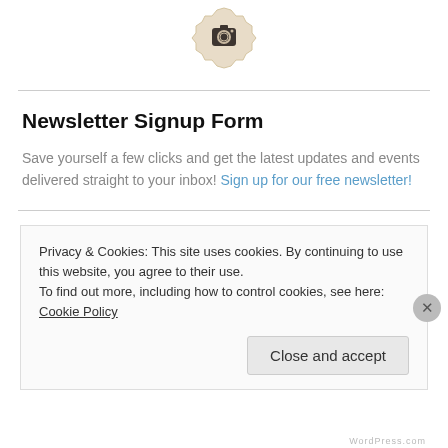[Figure (illustration): Instagram camera icon inside a decorative beige badge/seal shape]
Newsletter Signup Form
Save yourself a few clicks and get the latest updates and events delivered straight to your inbox! Sign up for our free newsletter!
Privacy & Cookies: This site uses cookies. By continuing to use this website, you agree to their use. To find out more, including how to control cookies, see here: Cookie Policy
Close and accept